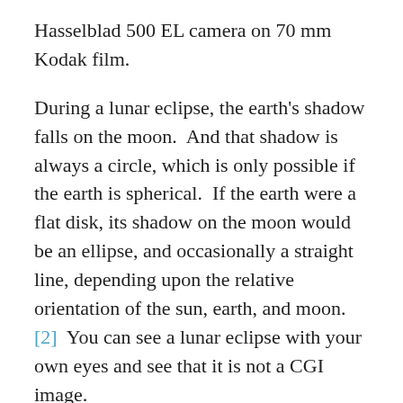Hasselblad 500 EL camera on 70 mm Kodak film.
During a lunar eclipse, the earth's shadow falls on the moon.  And that shadow is always a circle, which is only possible if the earth is spherical.  If the earth were a flat disk, its shadow on the moon would be an ellipse, and occasionally a straight line, depending upon the relative orientation of the sun, earth, and moon.[2]  You can see a lunar eclipse with your own eyes and see that it is not a CGI image.
Moreover, I previously wrote an article about some experiments that you can do for yourself to test the shape of the earth.  These include measuring the angular altitude of the north